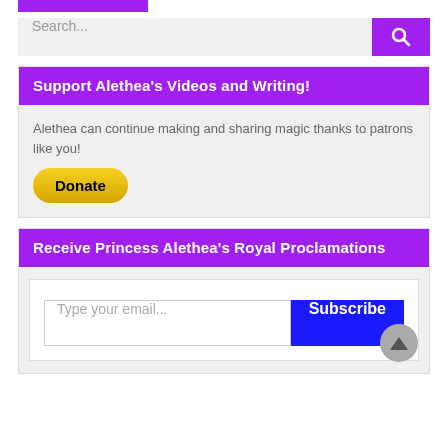[Figure (screenshot): Purple top bar/button at top of page]
[Figure (screenshot): Search bar with text 'Search...' and purple search button with magnifying glass icon]
Support Alethea's Videos and Writing!
Alethea can continue making and sharing magic thanks to patrons like you!
[Figure (screenshot): Yellow PayPal Donate button]
Receive Princess Alethea's Royal Proclamations
[Figure (screenshot): Email subscription form with 'Type your email...' input and blue Subscribe button]